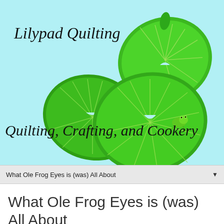[Figure (illustration): Lilypad Quilting blog banner with light blue background, green lily pad leaves, a small frog, and the text 'Lilypad Quilting' and 'Quilting, Crafting, and Cookery' in italic serif font.]
What Ole Frog Eyes is (was) All About
What Ole Frog Eyes is (was) All About